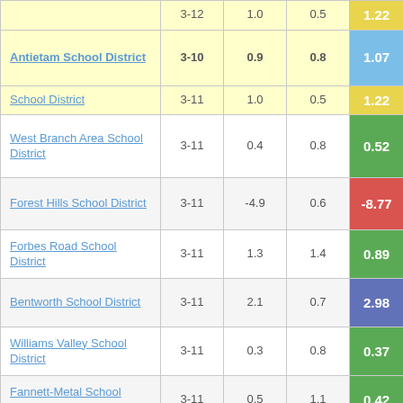| School District | Grades | Col3 | Col4 | Score |
| --- | --- | --- | --- | --- |
| [partial row] | 3-11 | 1.0 | 0.5 | 1.22 |
| Antietam School District | 3-10 | 0.9 | 0.8 | 1.07 |
| School District | 3-11 | 1.0 | 0.5 | 1.22 |
| West Branch Area School District | 3-11 | 0.4 | 0.8 | 0.52 |
| Forest Hills School District | 3-11 | -4.9 | 0.6 | -8.77 |
| Forbes Road School District | 3-11 | 1.3 | 1.4 | 0.89 |
| Bentworth School District | 3-11 | 2.1 | 0.7 | 2.98 |
| Williams Valley School District | 3-11 | 0.3 | 0.8 | 0.37 |
| Fannett-Metal School District | 3-11 | 0.5 | 1.1 | 0.42 |
| MaST Community... | 3-11 |  |  |  |